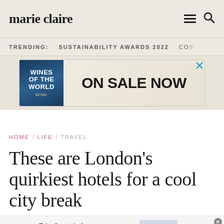marie claire
TRENDING:   SUSTAINABILITY AWARDS 2022   COS
[Figure (screenshot): Advertisement banner showing 'Wines of the World' book and text 'ON SALE NOW']
HOME / LIFE / TRAVEL
These are London's quirkiest hotels for a cool city break
[Figure (screenshot): Quicken advertisement: 'Take Control of Your Finances - Plan for today and tomorrow with one solution to manage all your finances.' with BUY NOW button]